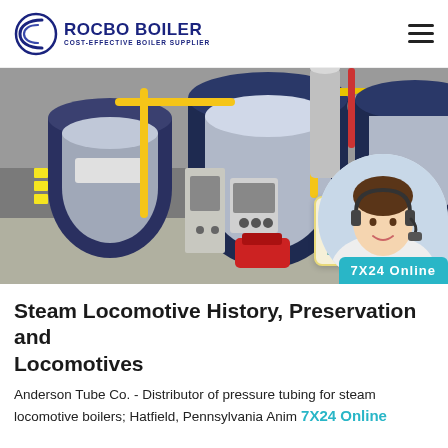[Figure (logo): Rocbo Boiler logo with circular wave icon and text 'ROCBO BOILER — COST-EFFECTIVE BOILER SUPPLIER']
[Figure (photo): Industrial boiler room with multiple large cylindrical blue/grey steam boilers, yellow pipes, pressure gauges, and a 10% DISCOUNT badge overlay in the bottom right, plus a customer service agent headshot bubble]
Steam Locomotive History, Preservation and Locomotives
Anderson Tube Co. - Distributor of pressure tubing for steam locomotive boilers; Hatfield, Pennsylvania Anim 7X24 Online